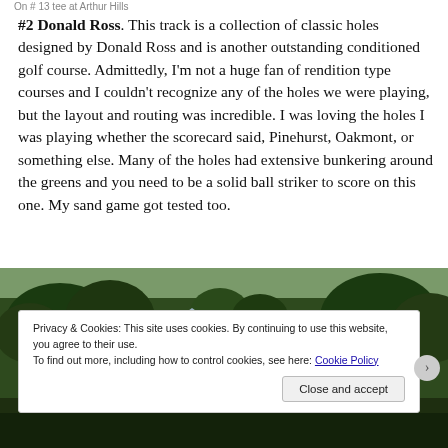On # 13 tee at Arthur Hills
#2 Donald Ross.  This track is a collection of classic holes designed by Donald Ross and is another outstanding conditioned golf course.  Admittedly, I'm not a huge fan of rendition type courses and I couldn't recognize any of the holes we were playing, but the layout and routing was incredible.  I was loving the holes I was playing whether the scorecard said, Pinehurst, Oakmont, or something else.  Many of the holes had extensive bunkering around the greens and you need to be a solid ball striker to score on this one.  My sand game got tested too.
[Figure (photo): Outdoor golf course photo showing trees and a white house/building structure against a green tree backdrop]
Privacy & Cookies: This site uses cookies. By continuing to use this website, you agree to their use.
To find out more, including how to control cookies, see here: Cookie Policy
Close and accept